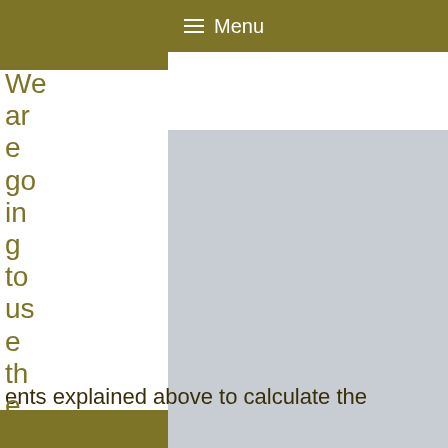≡ Menu
We are going to use the 3 concepts explained above to calculate the
[Figure (screenshot): Large gray placeholder image occupying the right portion of the page below the header]